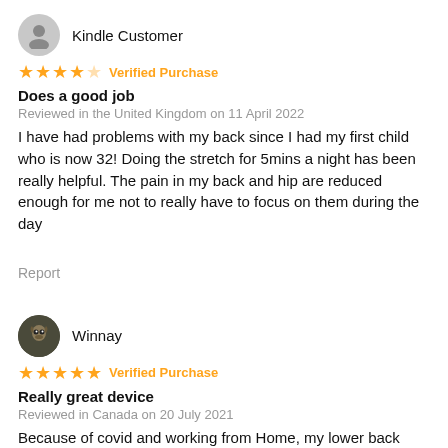[Figure (illustration): Generic user avatar icon (grey circle with person silhouette)]
Kindle Customer
★★★★☆ Verified Purchase
Does a good job
Reviewed in the United Kingdom on 11 April 2022
I have had problems with my back since I had my first child who is now 32! Doing the stretch for 5mins a night has been really helpful. The pain in my back and hip are reduced enough for me not to really have to focus on them during the day
Report
[Figure (photo): Small circular profile photo of user Winnay showing an owl or bird image]
Winnay
★★★★★ Verified Purchase
Really great device
Reviewed in Canada on 20 July 2021
Because of covid and working from Home, my lower back started to hurt a lot. I'm constantly sitting and even with the orthotic seat cushion it's not helping. So I got this hoping it'd help. I have to to the highest setting and it helps relieve so much back ache and pain! I... See more